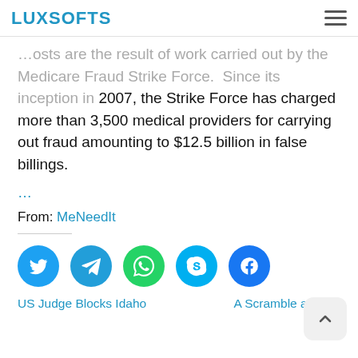LUXSOFTS
…osts are the result of work carried out by the Medicare Fraud Strike Force.  Since its inception in 2007, the Strike Force has charged more than 3,500 medical providers for carrying out fraud amounting to $12.5 billion in false billings.
…
From: MeNeedIt
US Judge Blocks Idaho
A Scramble as Last